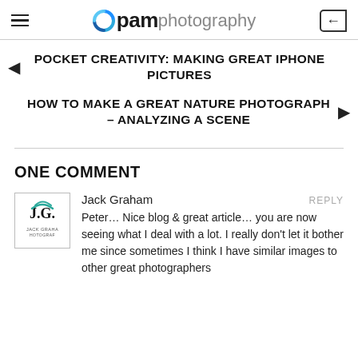pam photography
POCKET CREATIVITY: MAKING GREAT IPHONE PICTURES
HOW TO MAKE A GREAT NATURE PHOTOGRAPH – ANALYZING A SCENE
ONE COMMENT
Jack Graham
Peter… Nice blog & great article… you are now seeing what I deal with a lot. I really don't let it bother me since sometimes I think I have similar images to other great photographers